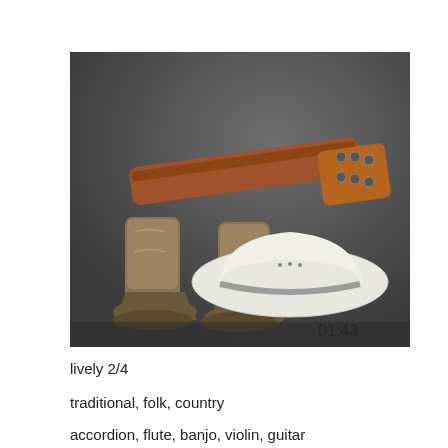[Figure (photo): A photograph of cowboy boots, a white cowboy hat, and the neck/headstock of a guitar, arranged together against a dark gray fabric background. The boots are worn leather, the hat is white with a dark band, and the guitar headstock is wood-toned with silver tuning pegs. A timestamp '01:43' appears at the bottom right of the image.]
lively 2/4
traditional, folk, country
accordion, flute, banjo, violin, guitar